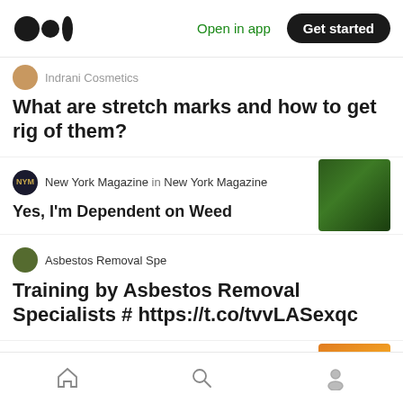Medium logo | Open in app | Get started
Indrani Cosmetics
What are stretch marks and how to get rig of them?
New York Magazine in New York Magazine
Yes, I'm Dependent on Weed
[Figure (photo): Close-up photo of cannabis plant with green buds]
Asbestos Removal Spe
Training by Asbestos Removal Specialists # https://t.co/tvvLASexqc
Anthony Moss
At Dawn, I Will Win
[Figure (photo): Photo of tree silhouette against orange sunset sky]
Home | Search | Profile navigation icons